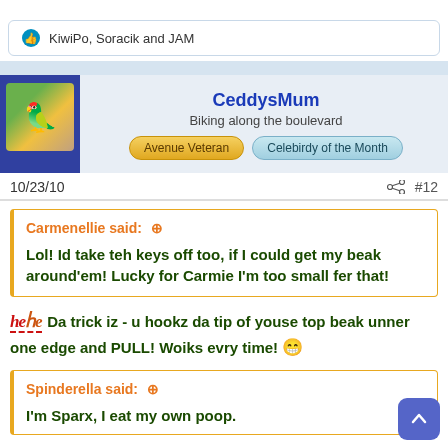KiwiPo, Soracik and JAM
CeddysMum
Biking along the boulevard
Avenue Veteran
Celebirdy of the Month
10/23/10
#12
Carmenellie said: ↑
Lol! Id take teh keys off too, if I could get my beak around'em! Lucky for Carmie I'm too small fer that!
hehe Da trick iz - u hookz da tip of youse top beak unner one edge and PULL! Woiks evry time! 😁
Spinderella said: ↑
I'm Sparx, I eat my own poop.